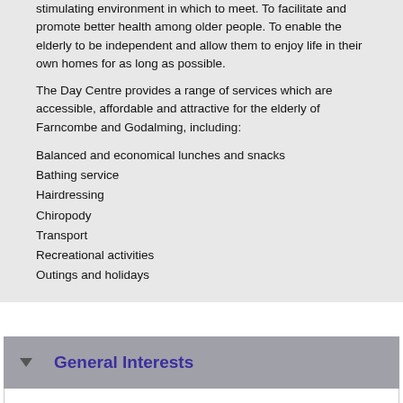stimulating environment in which to meet. To facilitate and promote better health among older people. To enable the elderly to be independent and allow them to enjoy life in their own homes for as long as possible.
The Day Centre provides a range of services which are accessible, affordable and attractive for the elderly of Farncombe and Godalming, including:
Balanced and economical lunches and snacks
Bathing service
Hairdressing
Chiropody
Transport
Recreational activities
Outings and holidays
General Interests
Kitchen volunteers at Farncombe Day Centre
Minibus escort at Farncombe Day Centre
Servery Volunteer at Farncombe Day Centre